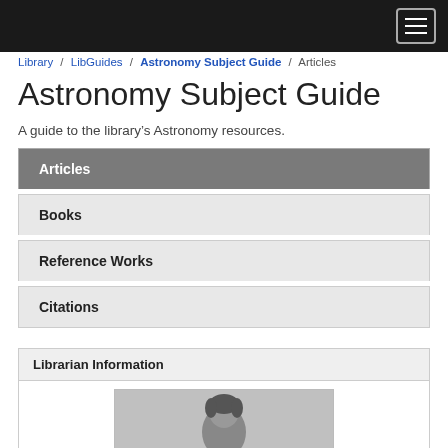Navigation header bar with hamburger menu
Library / LibGuides / Astronomy Subject Guide / Articles
Astronomy Subject Guide
A guide to the library's Astronomy resources.
Articles
Books
Reference Works
Citations
Librarian Information
[Figure (photo): Librarian profile photo, black and white portrait]